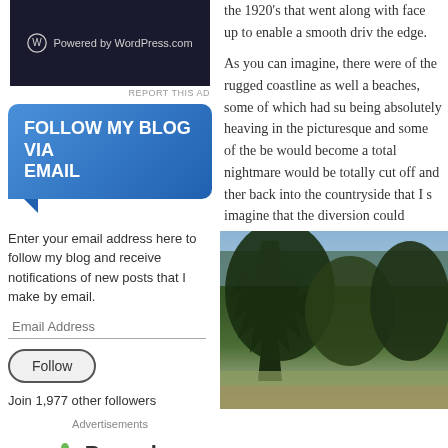[Figure (screenshot): WordPress.com banner — dark background with WordPress logo and 'Powered by WordPress.com' text]
REPORT THIS AD
[Figure (infographic): Follow My Blog Via Email widget — blue rounded box with title 'FOLLOW MY BLOG VIA EMAIL', email input field, Follow button, and Join 1,977 other followers text]
Advertisements
[Figure (logo): Parse.ly logo with green leaf icon and bold text 'Parse.ly']
the 1920's that went along with face up to enable a smooth driv the edge.
As you can imagine, there were of the rugged coastline as well a beaches, some of which had su being absolutely heaving in the picturesque and some of the be would become a total nightmare would be totally cut off and ther back into the countryside that I s imagine that the diversion could
[Figure (photo): Outdoor nature photo showing trees and scrubland landscape with sky in background]